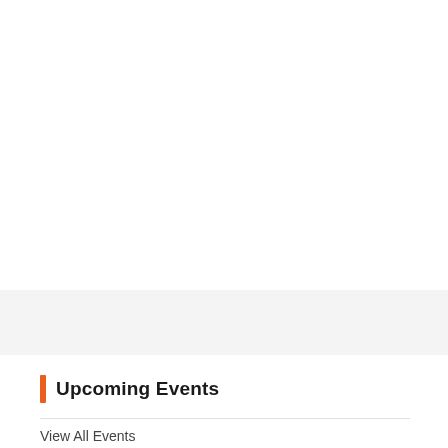Upcoming Events
View All Events